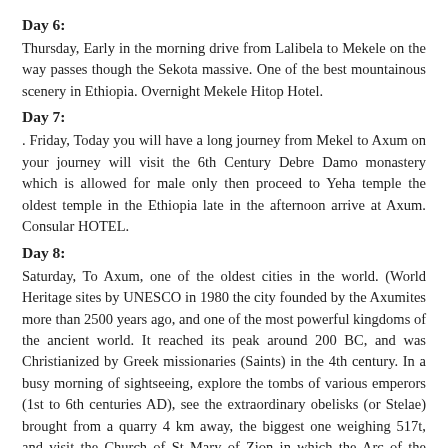Day 6:
Thursday, Early in the morning drive from Lalibela to Mekele on the way passes though the Sekota massive. One of the best mountainous scenery in Ethiopia. Overnight Mekele Hitop Hotel.
Day 7:
. Friday, Today you will have a long journey from Mekel to Axum on your journey will visit the 6th Century Debre Damo monastery which is allowed for male only then proceed to Yeha temple the oldest temple in the Ethiopia late in the afternoon arrive at Axum. Consular HOTEL.
Day 8:
Saturday, To Axum, one of the oldest cities in the world. (World Heritage sites by UNESCO in 1980 the city founded by the Axumites more than 2500 years ago, and one of the most powerful kingdoms of the ancient world. It reached its peak around 200 BC, and was Christianized by Greek missionaries (Saints) in the 4th century. In a busy morning of sightseeing, explore the tombs of various emperors (1st to 6th centuries AD), see the extraordinary obelisks (or Stelae) brought from a quarry 4 km away, the biggest one weighing 517t, and visit the Church of St Mary of Zion in which the Arc of the Covenant is deposited. After lunch in the hotel, drive to Gugit to see the rock carved lion and visit the ruins of the Palace of the